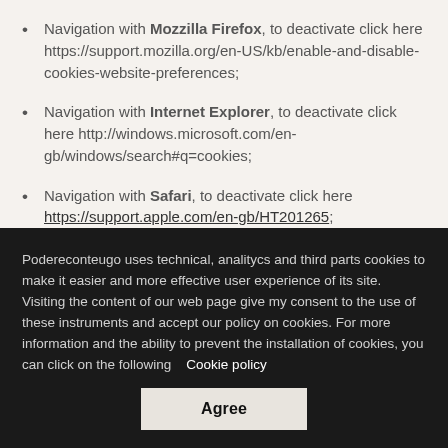Navigation with Mozzilla Firefox, to deactivate click here https://support.mozilla.org/en-US/kb/enable-and-disable-cookies-website-preferences;
Navigation with Internet Explorer, to deactivate click here http://windows.microsoft.com/en-gb/windows/search#q=cookies;
Navigation with Safari, to deactivate click here https://support.apple.com/en-gb/HT201265;
All the common browser permits cookies deactivation.
Podereconteugo uses technical, analitycs and third parts cookies to make it easier and more effective user experience of its site. Visiting the content of our web page give my consent to the use of these instruments and accept our policy on cookies. For more information and the ability to prevent the installation of cookies, you can click on the following   Cookie policy